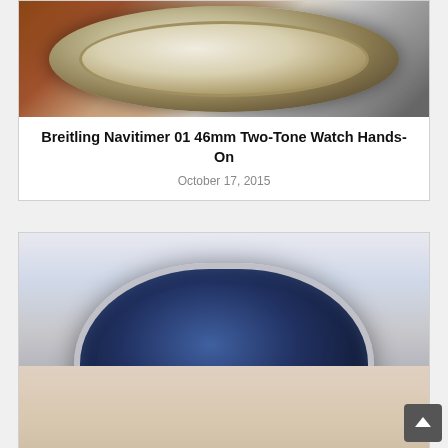[Figure (photo): Close-up photo of a Breitling Navitimer 01 46mm Two-Tone watch with brown leather strap, showing the chronograph dial]
Breitling Navitimer 01 46mm Two-Tone Watch Hands-On
October 17, 2015
[Figure (photo): Photo of a Breitling Transocean 38 watch with dark blue dial on a metal mesh bracelet, worn on a wrist]
Breitling Transocean 38 Watch Review
May 22, 2015